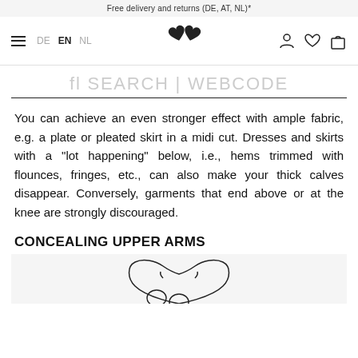Free delivery and returns (DE, AT, NL)*
[Figure (screenshot): Navigation bar with hamburger menu, language selector (DE EN NL), logo (interlinked hearts), and icons for account, wishlist, and cart]
fl SEARCH | WEBCODE
You can achieve an even stronger effect with ample fabric, e.g. a plate or pleated skirt in a midi cut. Dresses and skirts with a "lot happening" below, i.e., hems trimmed with flounces, fringes, etc., can also make your thick calves disappear. Conversely, garments that end above or at the knee are strongly discouraged.
CONCEALING UPPER ARMS
[Figure (illustration): Line drawing illustration of a torso/upper body, partially visible at bottom of page]